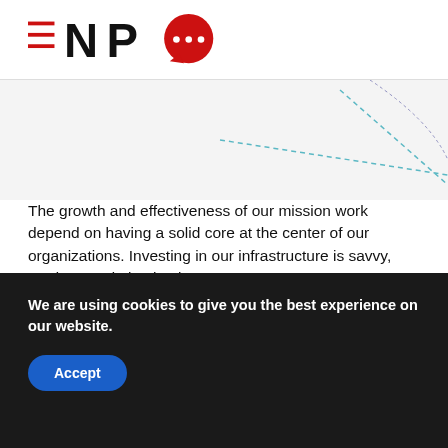NPQ
[Figure (illustration): Partial view of a pie/donut chart diagram showing a yellow slice with teal dashed lines pointing outward, on a light gray background.]
The growth and effectiveness of our mission work depend on having a solid core at the center of our organizations. Investing in our infrastructure is savvy, prudent, and absolutely necessary.
Go Visual With Our New Thinking
Once we have a new way of understanding and communicating about the Core Mission Support
We are using cookies to give you the best experience on our website.
Accept